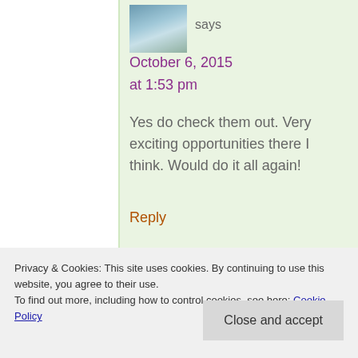[Figure (photo): Small avatar image showing a nature/water scene with green tones]
says
October 6, 2015 at 1:53 pm
Yes do check them out. Very exciting opportunities there I think. Would do it all again!
Reply
Privacy & Cookies: This site uses cookies. By continuing to use this website, you agree to their use.
To find out more, including how to control cookies, see here: Cookie Policy
Close and accept